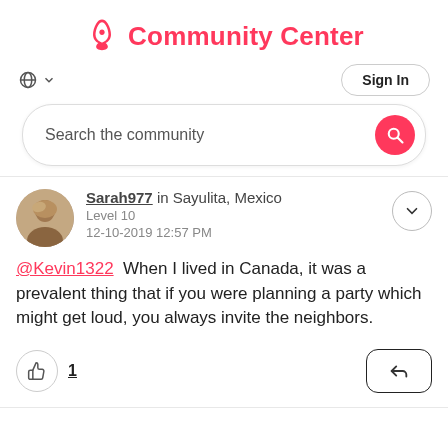Community Center
Sign In
Search the community
Sarah977 in Sayulita, Mexico
Level 10
12-10-2019 12:57 PM
@Kevin1322 When I lived in Canada, it was a prevalent thing that if you were planning a party which might get loud, you always invite the neighbors.
1